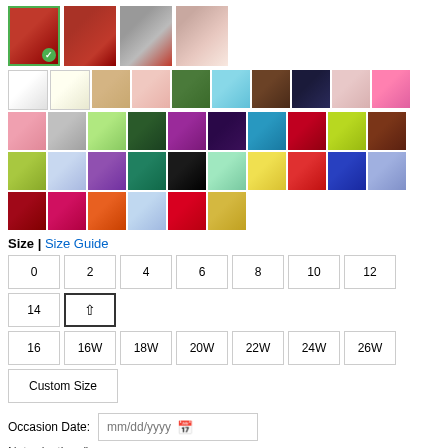[Figure (photo): Product thumbnail images of red dresses]
[Figure (photo): Color swatch grid showing fabric color options]
Size | Size Guide
| 0 | 2 | 4 | 6 | 8 | 10 | 12 | 14 | ↑ |
| 16 | 16W | 18W | 20W | 22W | 24W | 26W |
| Custom Size |
Occasion Date: mm/dd/yyyy
Note: (optional)